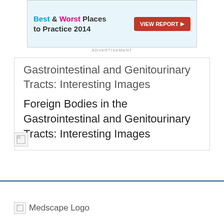[Figure (screenshot): Advertisement banner: Best & Worst Places to Practice 2014 with VIEW REPORT button]
ADVERTISEMENT
Gastrointestinal and Genitourinary Tracts: Interesting Images
Foreign Bodies in the Gastrointestinal and Genitourinary Tracts: Interesting Images
[Figure (photo): Broken/missing image placeholder]
[Figure (logo): Medscape Logo (broken image)]